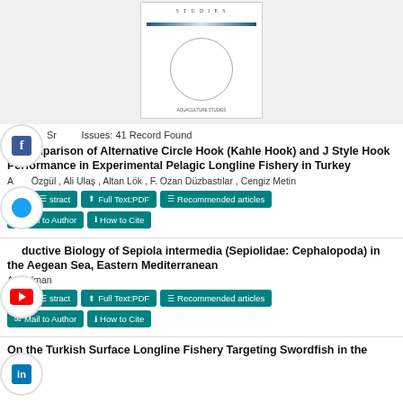[Figure (photo): Journal cover image showing a circular design, with 'STUDIES' text at top and blue decorative bar]
Sr Issues: 41 Record Found
A Comparison of Alternative Circle Hook (Kahle Hook) and J Style Hook Performance in Experimental Pelagic Longline Fishery in Turkey
A Özgül , Ali Ulaş , Altan Lök , F. Ozan Düzbastılar , Cengiz Metin
Abstract | Full Text:PDF | Recommended articles | Mail to Author | How to Cite
Reproductive Biology of Sepiola intermedia (Sepiolidae: Cephalopoda) in the Aegean Sea, Eastern Mediterranean
A lman
Abstract | Full Text:PDF | Recommended articles | Mail to Author | How to Cite
On the Turkish Surface Longline Fishery Targeting Swordfish in the